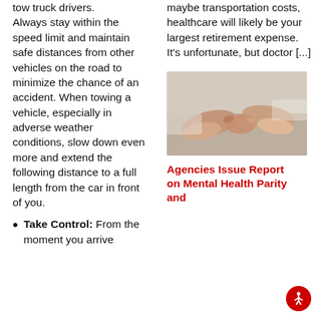tow truck drivers. Always stay within the speed limit and maintain safe distances from other vehicles on the road to minimize the chance of an accident. When towing a vehicle, especially in adverse weather conditions, slow down even more and extend the following distance to a full length from the car in front of you.
Take Control: From the moment you arrive
maybe transportation costs, healthcare will likely be your largest retirement expense. It's unfortunate, but doctor [...]
[Figure (photo): Two people holding hands, one appearing to support the other, shown from the forearms down against a light background.]
Agencies Issue Report on Mental Health Parity and